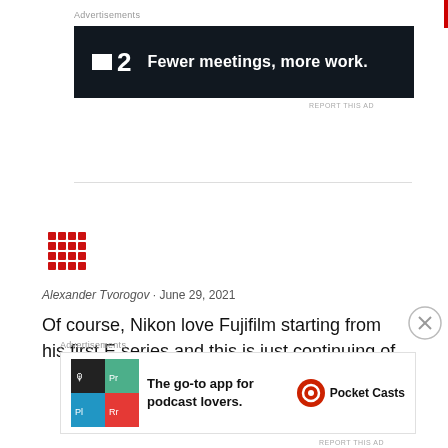Advertisements
[Figure (screenshot): Dark banner advertisement for F2 app: logo with white square and '2', tagline 'Fewer meetings, more work.' on dark navy background]
REPORT THIS AD
[Figure (logo): Red pixel/dot grid avatar icon for user Alexander Tvorogov]
Alexander Tvorogov · June 29, 2021
Of course, Nikon love Fujifilm starting from his first E series and this is just continuing of
Advertisements
[Figure (screenshot): Pocket Casts advertisement: colorful app icon tiles on left, text 'The go-to app for podcast lovers.' and Pocket Casts logo on right]
REPORT THIS AD